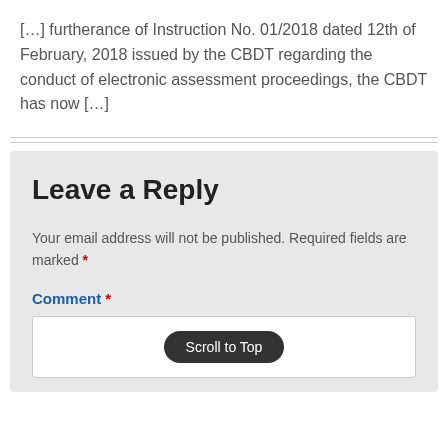[…] furtherance of Instruction No. 01/2018 dated 12th of February, 2018 issued by the CBDT regarding the conduct of electronic assessment proceedings, the CBDT has now […]
Leave a Reply
Your email address will not be published. Required fields are marked *
Comment *